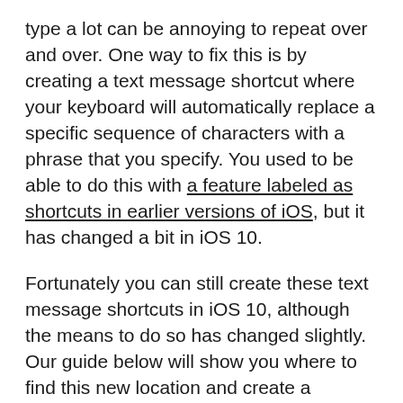type a lot can be annoying to repeat over and over. One way to fix this is by creating a text message shortcut where your keyboard will automatically replace a specific sequence of characters with a phrase that you specify. You used to be able to do this with a feature labeled as shortcuts in earlier versions of iOS, but it has changed a bit in iOS 10.
Fortunately you can still create these text message shortcuts in iOS 10, although the means to do so has changed slightly. Our guide below will show you where to find this new location and create a shortcut that will make entering information with the iPhone keyboard a little easier.